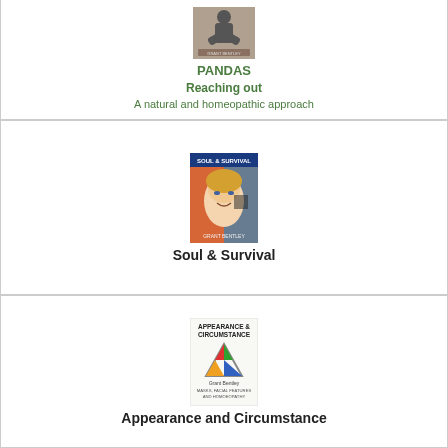[Figure (illustration): Book cover for PANDAS Reaching out - A natural and homeopathic approach by Grant Bentley, showing a person sitting with knees drawn up]
PANDAS
Reaching out
A natural and homeopathic approach
[Figure (illustration): Book cover for Soul & Survival by Grant Bentley, showing a girl's face with colorful background]
Soul & Survival
[Figure (illustration): Book cover for Appearance and Circumstance by Grant Bentley, showing a triangle logo with MASKS, FACIAL FEATURES AND HOMOEOPATHY subtitle]
Appearance and Circumstance
[Figure (illustration): Partial view of another book cover at bottom of page]